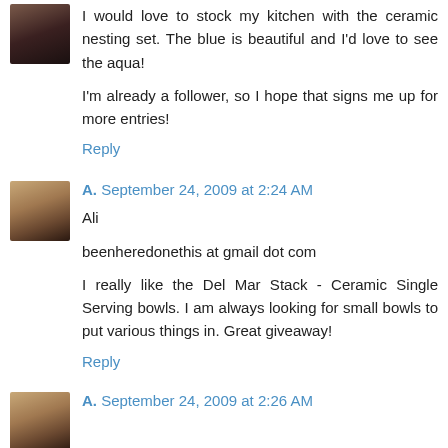I would love to stock my kitchen with the ceramic nesting set. The blue is beautiful and I'd love to see the aqua!
I'm already a follower, so I hope that signs me up for more entries!
Reply
A. September 24, 2009 at 2:24 AM
Ali
beenheredonethis at gmail dot com
I really like the Del Mar Stack - Ceramic Single Serving bowls. I am always looking for small bowls to put various things in. Great giveaway!
Reply
A. September 24, 2009 at 2:26 AM